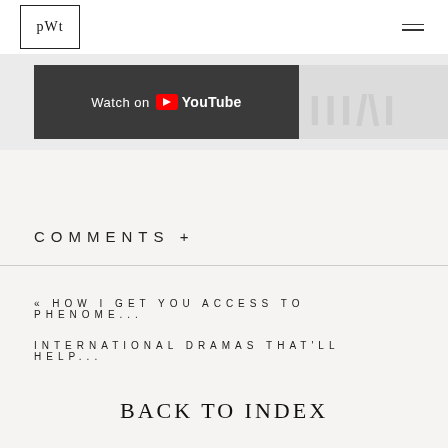PWT
[Figure (screenshot): YouTube 'Watch on YouTube' button banner with partial text/letters visible on right side]
COMMENTS +
« HOW I GET YOU ACCESS TO PHENOME...
INTERNATIONAL DRAMAS THAT'LL HELP...
BACK TO INDEX